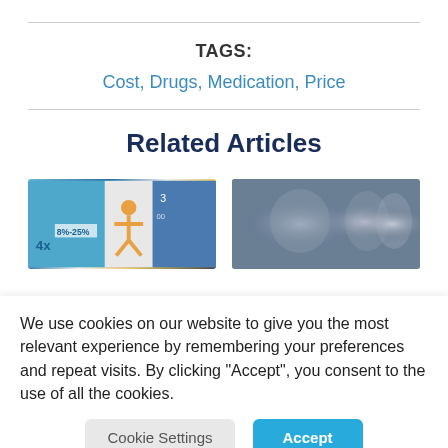TAGS:
Cost, Drugs, Medication, Price
Related Articles
[Figure (photo): Two article thumbnail images side by side: left shows an infographic about drug cost percentages (8%-25%, 4x), right shows a blurred photo of people in a public setting]
We use cookies on our website to give you the most relevant experience by remembering your preferences and repeat visits. By clicking “Accept”, you consent to the use of all the cookies.